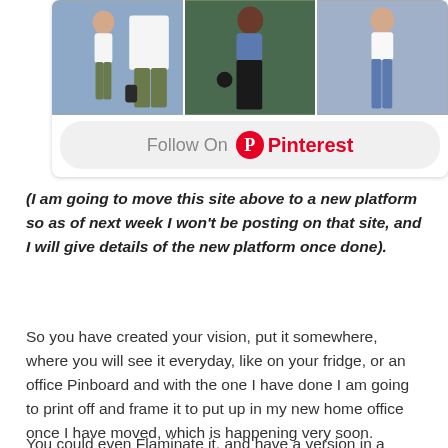[Figure (screenshot): Pinterest widget showing a 'Follow On Pinterest' button with three fashion photo thumbnails above it. The photos show women in various outfits including olive green pants with white top, black maxi skirt with denim jacket, and distressed jeans.]
(I am going to move this site above to a new platform so as of next week I won't be posting on that site, and I will give details of the new platform once done).
So you have created your vision, put it somewhere, where you will see it everyday, like on your fridge, or an office Pinboard and with the one I have done I am going to print off and frame it to put up in my new home office once I have moved, which is happening very soon.
You could even Flaminate it, and have a version in a